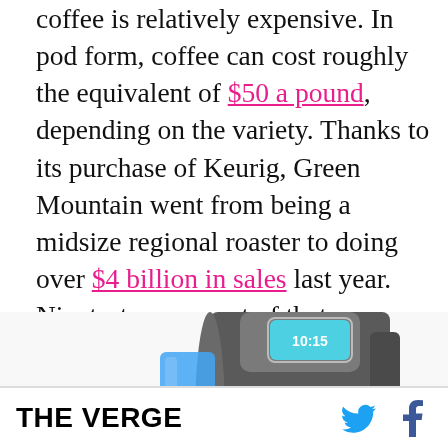coffee is relatively expensive. In pod form, coffee can cost roughly the equivalent of $50 a pound, depending on the variety. Thanks to its purchase of Keurig, Green Mountain went from being a midsize regional roaster to doing over $4 billion in sales last year. Ninety-two percent of that revenue came from pods and brewers. Reflecting its new focus, it changed its name to Keurig Green Mountain last March.
[Figure (photo): Photo of a Keurig coffee brewing machine, silver and black with a blue water reservoir, digital display showing 10:15, partial view cropped at bottom of frame]
THE VERGE